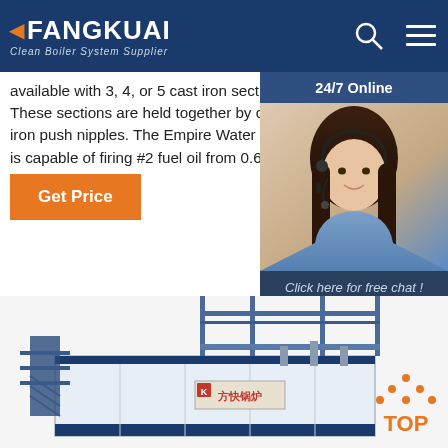FANGKUAI - Clean Boiler System Supplier
available with 3, 4, or 5 cast iron sections. These sections are held together by cast iron push nipples. The Empire Water boiler is capable of firing #2 fuel oil from 0.65 gph up to
[Figure (screenshot): Orange 'Get Price' button]
[Figure (photo): 24/7 Online chat widget showing a customer service representative with headset, with 'Click here for free chat!' text and QUOTATION button]
[Figure (photo): Industrial boiler system (Fangkuai brand) containerized unit, blue and white, with scaffolding and piping visible]